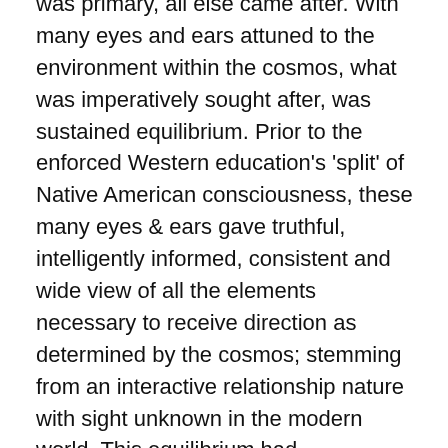was primary, all else came after. With many eyes and ears attuned to the environment within the cosmos, what was imperatively sought after, was sustained equilibrium. Prior to the enforced Western education's 'split' of Native American consciousness, these many eyes & ears gave truthful, intelligently informed, consistent and wide view of all the elements necessary to receive direction as determined by the cosmos; stemming from an interactive relationship nature with sight unknown in the modern world. This equilibrium had environmentally sustained for millennia.
This preceding demands an integrated approach that precludes ego in the western sense; it was never about 'me' but about sustaining a system of perpetual motion which depended on all; right down to awareness of impact to the single blade of grass and the correct action or 'lived